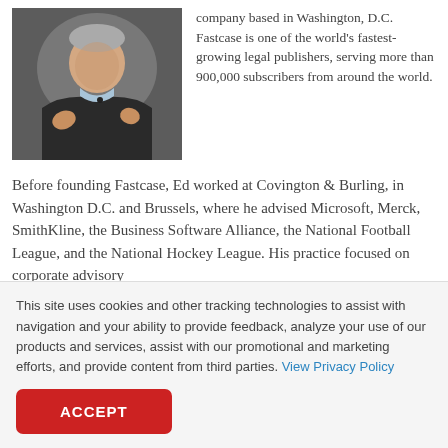[Figure (photo): Photo of a man in a dark suit gesturing while speaking, appears to be at a conference or presentation.]
company based in Washington, D.C. Fastcase is one of the world's fastest-growing legal publishers, serving more than 900,000 subscribers from around the world.
Before founding Fastcase, Ed worked at Covington & Burling, in Washington D.C. and Brussels, where he advised Microsoft, Merck, SmithKline, the Business Software Alliance, the National Football League, and the National Hockey League. His practice focused on corporate advisory
This site uses cookies and other tracking technologies to assist with navigation and your ability to provide feedback, analyze your use of our products and services, assist with our promotional and marketing efforts, and provide content from third parties. View Privacy Policy
ACCEPT